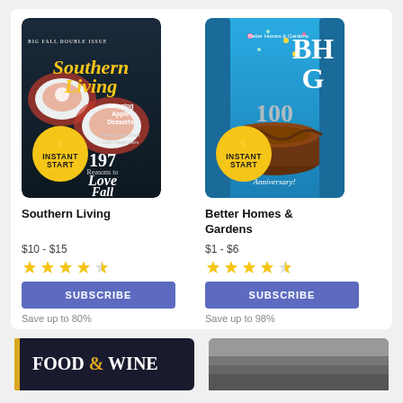[Figure (screenshot): Magazine subscription listing page showing two magazines side by side: Southern Living and Better Homes & Gardens, each with cover image, price, star rating, subscribe button and savings text. Bottom row shows partial covers of Food & Wine and another magazine.]
Southern Living
$10 - $15
[Figure (other): 4.5 star rating]
SUBSCRIBE
Save up to 80%
Better Homes & Gardens
$1 - $6
[Figure (other): 4.5 star rating]
SUBSCRIBE
Save up to 98%